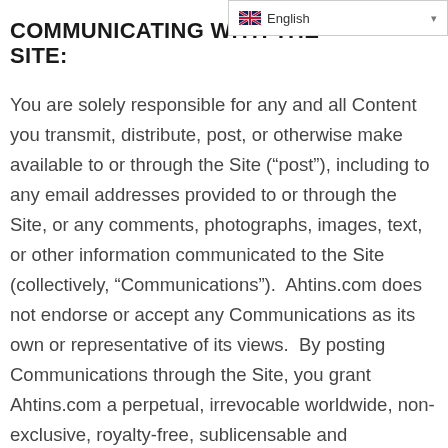English
COMMUNICATING WITH THE SITE:
You are solely responsible for any and all Content you transmit, distribute, post, or otherwise make available to or through the Site (“post”), including to any email addresses provided to or through the Site, or any comments, photographs, images, text, or other information communicated to the Site (collectively, “Communications”).  Ahtins.com does not endorse or accept any Communications as its own or representative of its views.  By posting Communications through the Site, you grant Ahtins.com a perpetual, irrevocable worldwide, non-exclusive, royalty-free, sublicensable and transferable license to publish and display such